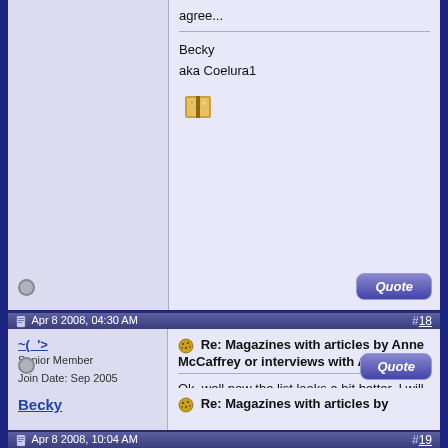Becky
aka Coelura1
Apr 8 2008, 04:30 AM  #18
~(_'>  Senior Member  Join Date: Sep 2005
Re: Magazines with articles by Anne McCaffrey or interviews with Anne
Ok, well now the list looks a bit better. I will have to compare it to mine to see what else I can add to it. Bearing in mind, I have added several more, and those are at home. And as I have stated before, I am not at home, so sorting thru each magazine is out of the question.
Apr 8 2008, 10:04 AM  #19
Becky
Re: Magazines with articles by